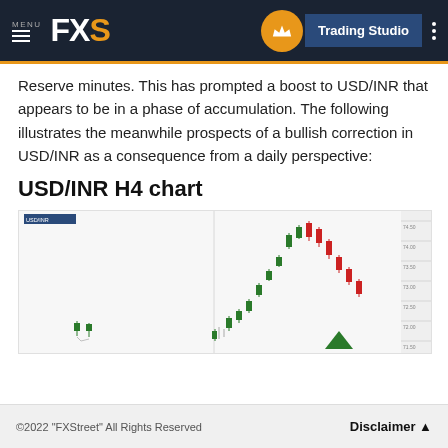MENU FXS | Trading Studio
Reserve minutes. This has prompted a boost to USD/INR that appears to be in a phase of accumulation. The following illustrates the meanwhile prospects of a bullish correction in USD/INR as a consequence from a daily perspective:
USD/INR H4 chart
[Figure (continuous-plot): USD/INR H4 candlestick chart showing price movement with green and red candles forming a peak pattern, with a green triangle marker on the right side of the chart and price scale on the right axis.]
©2022 "FXStreet" All Rights Reserved   Disclaimer ▲